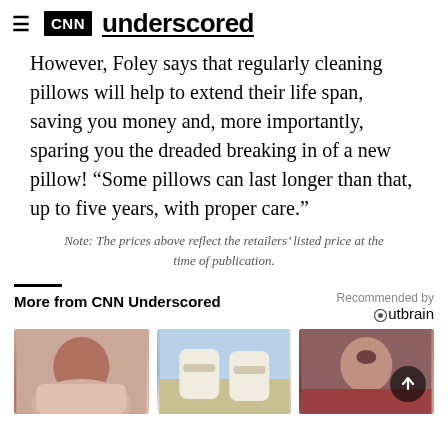CNN underscored
However, Foley says that regularly cleaning pillows will help to extend their life span, saving you money and, more importantly, sparing you the dreaded breaking in of a new pillow! “Some pillows can last longer than that, up to five years, with proper care.”
Note: The prices above reflect the retailers’ listed price at the time of publication.
More from CNN Underscored
[Figure (photo): Person lying down, photo thumbnail]
[Figure (photo): White sandals on blue tiled surface, photo thumbnail]
[Figure (photo): Woman with eyes closed applying skincare, photo thumbnail]